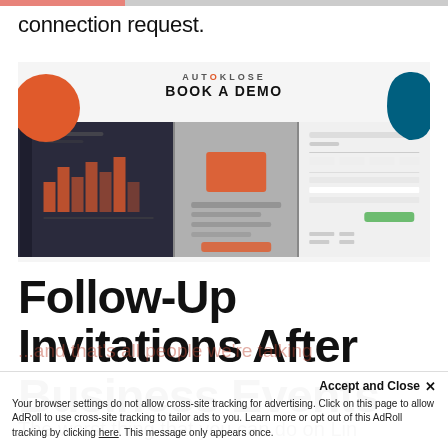connection request.
[Figure (screenshot): AutoKlose 'Book A Demo' advertisement banner with orange and blue decorative blobs and software dashboard screenshots]
Follow-Up Invitations After Business Events
The worst thing that you can do on LinkedIn is...
Accept and Close ×
Your browser settings do not allow cross-site tracking for advertising. Click on this page to allow AdRoll to use cross-site tracking to tailor ads to you. Learn more or opt out of this AdRoll tracking by clicking here. This message only appears once.